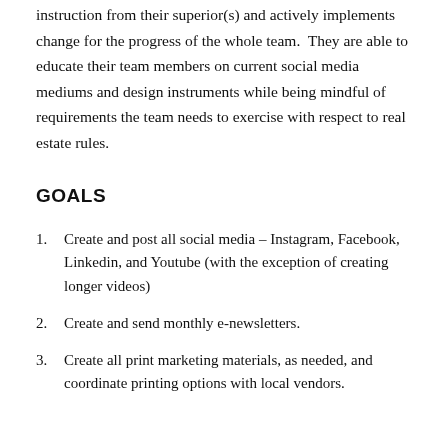instruction from their superior(s) and actively implements change for the progress of the whole team.  They are able to educate their team members on current social media mediums and design instruments while being mindful of requirements the team needs to exercise with respect to real estate rules.
GOALS
Create and post all social media – Instagram, Facebook, Linkedin, and Youtube (with the exception of creating longer videos)
Create and send monthly e-newsletters.
Create all print marketing materials, as needed, and coordinate printing options with local vendors.